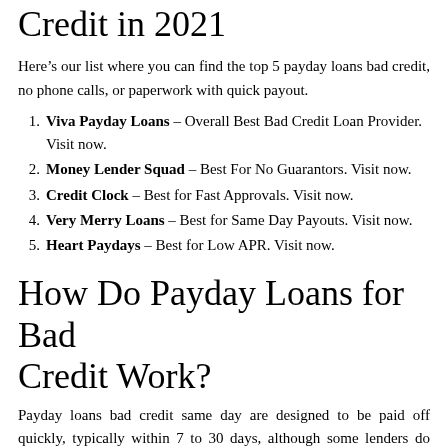Credit in 2021
Here’s our list where you can find the top 5 payday loans bad credit, no phone calls, or paperwork with quick payout.
Viva Payday Loans – Overall Best Bad Credit Loan Provider. Visit now.
Money Lender Squad – Best For No Guarantors. Visit now.
Credit Clock – Best for Fast Approvals. Visit now.
Very Merry Loans – Best for Same Day Payouts. Visit now.
Heart Paydays – Best for Low APR. Visit now.
How Do Payday Loans for Bad Credit Work?
Payday loans bad credit same day are designed to be paid off quickly, typically within 7 to 30 days, although some lenders do allow an extended